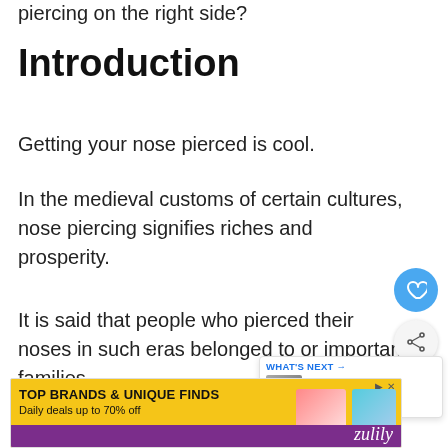piercing on the right side?
Introduction
Getting your nose pierced is cool.
In the medieval customs of certain cultures, nose piercing signifies riches and prosperity.
It is said that people who pierced their noses in such eras belonged to or important families.
[Figure (screenshot): What's Next card showing 'Spiritual meaning of...' with thumbnail image]
[Figure (screenshot): Advertisement banner: TOP BRANDS & UNIQUE FINDS, Daily deals up to 70% off, Zulily]